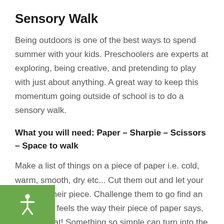Sensory Walk
Being outdoors is one of the best ways to spend summer with your kids. Preschoolers are experts at exploring, being creative, and pretending to play with just about anything. A great way to keep this momentum going outside of school is to do a sensory walk.
What you will need: Paper – Sharpie – Scissors – Space to walk
Make a list of things on a piece of paper i.e. cold, warm, smooth, dry etc... Cut them out and let your kids pick their piece. Challenge them to go find an object that feels the way their piece of paper says, easy as that! Something so simple can turn into the most fun and creative scavenger hunt.
The best part about this activity is it's very versatile. If it's rainy and stormy outside, go on the hunt inside!